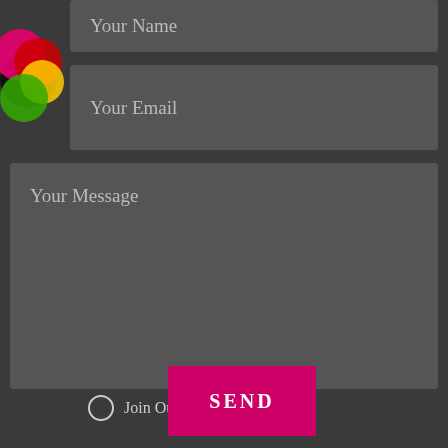[Figure (logo): Colorful overlapping circles logo in pink, red, yellow, green, black on the left side]
Your Name
Your Email
Your Message
Join Our Mailing List
SEND